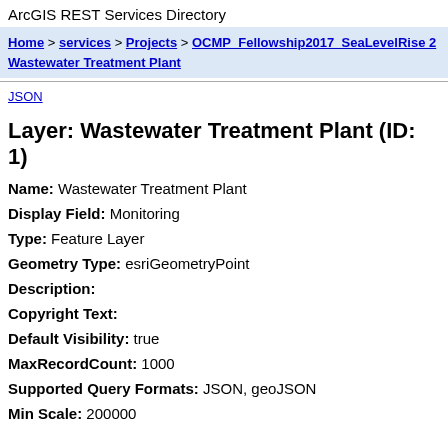ArcGIS REST Services Directory
Home > services > Projects > OCMP_Fellowship2017_SeaLevelRise 2 Wastewater Treatment Plant
JSON
Layer: Wastewater Treatment Plant (ID: 1)
Name: Wastewater Treatment Plant
Display Field: Monitoring
Type: Feature Layer
Geometry Type: esriGeometryPoint
Description:
Copyright Text:
Default Visibility: true
MaxRecordCount: 1000
Supported Query Formats: JSON, geoJSON
Min Scale: 200000